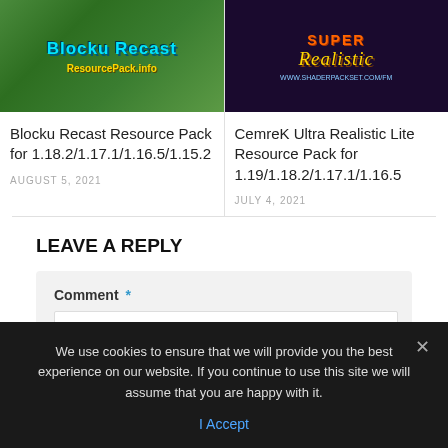[Figure (screenshot): Blocku Recast Resource Pack thumbnail with cyan/blue title text and yellow ResourcePack.info subtitle on green Minecraft background]
[Figure (screenshot): CemreK Ultra Realistic Lite resource pack thumbnail with decorative golden/orange title text on dark purple/black background]
Blocku Recast Resource Pack for 1.18.2/1.17.1/1.16.5/1.15.2
AUGUST 5, 2021
CemreK Ultra Realistic Lite Resource Pack for 1.19/1.18.2/1.17.1/1.16.5
JULY 4, 2021
LEAVE A REPLY
Comment *
We use cookies to ensure that we will provide you the best experience on our website. If you continue to use this site we will assume that you are happy with it.
I Accept